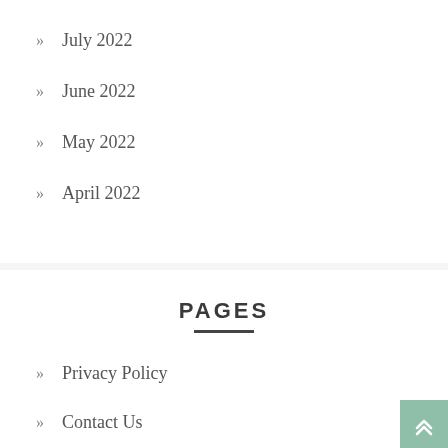July 2022
June 2022
May 2022
April 2022
PAGES
Privacy Policy
Contact Us